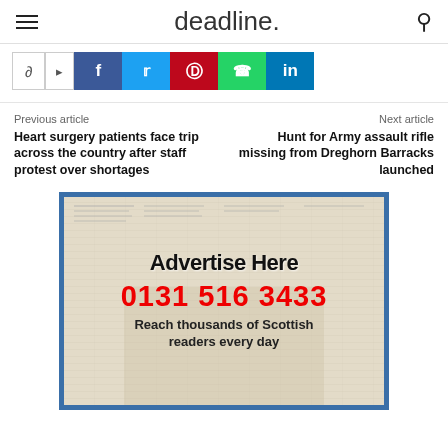deadline.
[Figure (infographic): Social share bar with share toggle button, arrow, and social media buttons: Facebook (blue), Twitter (cyan), Pinterest (red), WhatsApp (green), LinkedIn (dark blue)]
Previous article
Heart surgery patients face trip across the country after staff protest over shortages
Next article
Hunt for Army assault rifle missing from Dreghorn Barracks launched
[Figure (infographic): Advertisement banner with blue border, newspaper background image of person reading, text 'Advertise Here', phone number '0131 516 3433' in red, and tagline 'Reach thousands of Scottish readers every day']